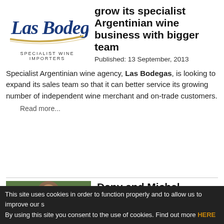[Figure (logo): Las Bodegas Specialist Wine Importers logo — cursive blue text with gold underline]
grow its specialist Argentinian wine business with bigger team
Published:  13 September, 2013
Specialist Argentinian wine agency, Las Bodegas, is looking to expand its sales team so that it can better service its growing number of independent wine merchant and on-trade customers.
Read more...
[Figure (photo): Man in suit holding a glass of red wine outdoors with green foliage background]
Dany and Michel Rolland on the look out for investments in Napa Valley
Published:  13 September, 2013
Investing in California's Napa
This site uses cookies in order to function properly and to allow us to improve our s By using this site you consent to the use of cookies. Find out more HERE